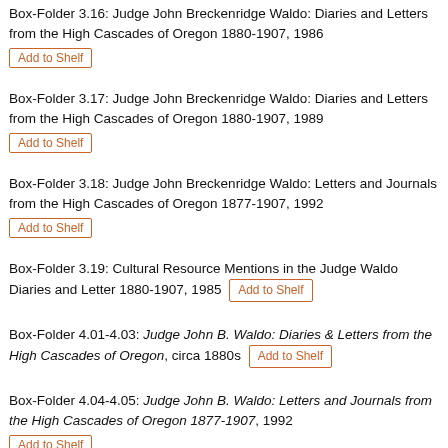Box-Folder 3.16: Judge John Breckenridge Waldo: Diaries and Letters from the High Cascades of Oregon 1880-1907, 1986
Box-Folder 3.17: Judge John Breckenridge Waldo: Diaries and Letters from the High Cascades of Oregon 1880-1907, 1989
Box-Folder 3.18: Judge John Breckenridge Waldo: Letters and Journals from the High Cascades of Oregon 1877-1907, 1992
Box-Folder 3.19: Cultural Resource Mentions in the Judge Waldo Diaries and Letter 1880-1907, 1985
Box-Folder 4.01-4.03: Judge John B. Waldo: Diaries & Letters from the High Cascades of Oregon, circa 1880s
Box-Folder 4.04-4.05: Judge John B. Waldo: Letters and Journals from the High Cascades of Oregon 1877-1907, 1992